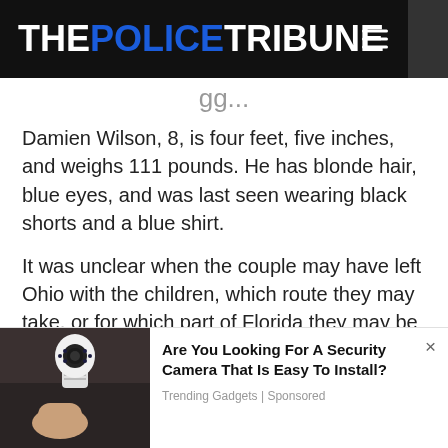THE POLICE TRIBUNE
gg...
Damien Wilson, 8, is four feet, five inches, and weighs 111 pounds. He has blonde hair, blue eyes, and was last seen wearing black shorts and a blue shirt.
It was unclear when the couple may have left Ohio with the children, which route they may take, or for which part of Florida they may be headed.
[Figure (photo): Advertisement showing a hand holding a light bulb security camera]
Are You Looking For A Security Camera That Is Easy To Install? Trending Gadgets | Sponsored